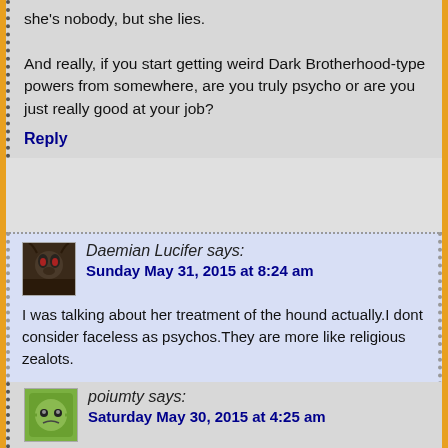she's nobody, but she lies.

And really, if you start getting weird Dark Brotherhood-type powers from somewhere, are you truly psycho or are you just really good at your job?
Reply
Daemian Lucifer says: Sunday May 31, 2015 at 8:24 am
I was talking about her treatment of the hound actually.I dont consider faceless as psychos.They are more like religious zealots.
Reply
poiumty says: Saturday May 30, 2015 at 4:25 am